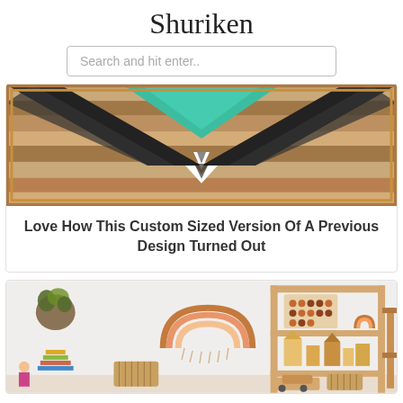Shuriken
Search and hit enter..
[Figure (photo): Wooden geometric wall art with teal, black, brown, and white chevron/arrow pattern in a wood frame]
Love How This Custom Sized Version Of A Previous Design Turned Out
[Figure (photo): Children's wooden toy shelf with rainbow wall decor, wooden blocks, toy train, abacus, and various natural wooden toys arranged on shelves]